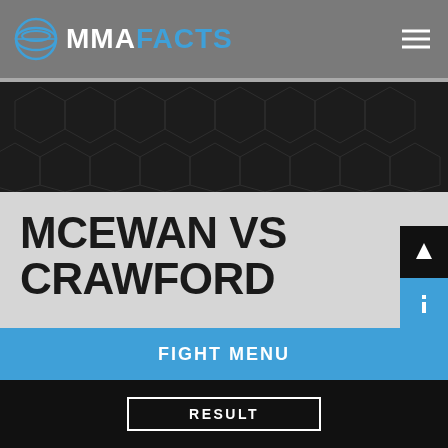MMA FACTS
MCEWAN VS CRAWFORD
HOME / RESULTS / MCEWAN VS CRAWFORD
FIGHT MENU
RESULT